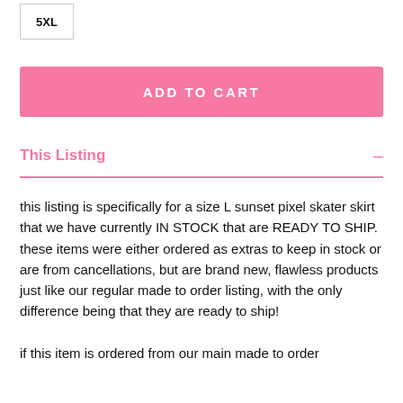5XL
ADD TO CART
This Listing
this listing is specifically for a size L sunset pixel skater skirt that we have currently IN STOCK that are READY TO SHIP. these items were either ordered as extras to keep in stock or are from cancellations, but are brand new, flawless products just like our regular made to order listing, with the only difference being that they are ready to ship!

if this item is ordered from our main made to order